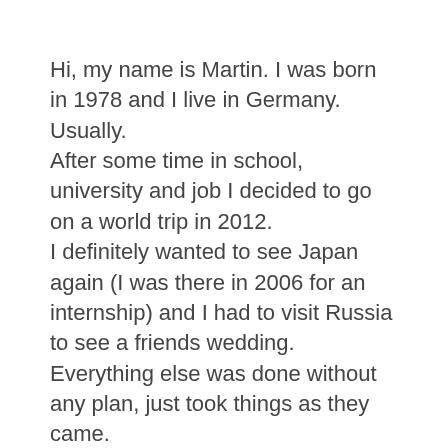Hi, my name is Martin. I was born in 1978 and I live in Germany. Usually.
After some time in school, university and job I decided to go on a world trip in 2012.
I definitely wanted to see Japan again (I was there in 2006 for an internship) and I had to visit Russia to see a friends wedding. Everything else was done without any plan, just took things as they came.
I met a lot of interesting people on my way. Including my now wife Olga.
After three years now, wanderlust got me again. I bought a nice car to do the next trip to the east. Visiting friends, seeing new places, meeting a lot of people. This time it will be much more organized, but still with a lot of surprises. I am very sure!